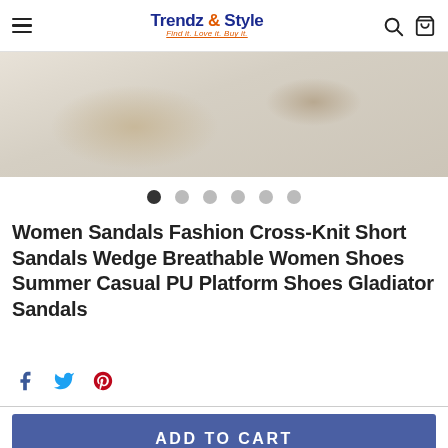Trendz & Style — Find it. Love it. Buy it.
[Figure (photo): Product image showing women sandals on a fluffy white fur surface, partially cropped at top]
Women Sandals Fashion Cross-Knit Short Sandals Wedge Breathable Women Shoes Summer Casual PU Platform Shoes Gladiator Sandals
Social share icons: Facebook, Twitter, Pinterest
ADD TO CART